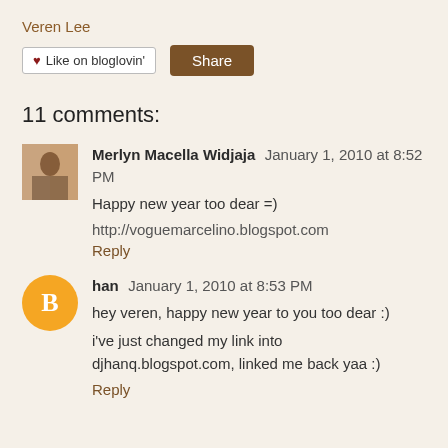Veren Lee
[Figure (other): Like on bloglovin' button and Share button]
11 comments:
Merlyn Macella Widjaja January 1, 2010 at 8:52 PM
Happy new year too dear =)

http://voguemarcelino.blogspot.com

Reply
han January 1, 2010 at 8:53 PM
hey veren, happy new year to you too dear :)

i've just changed my link into djhanq.blogspot.com, linked me back yaa :)

Reply